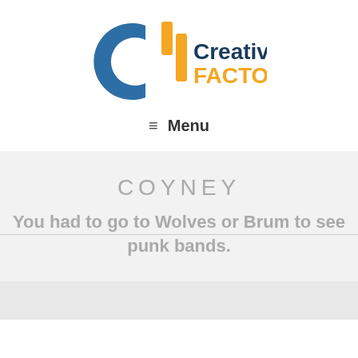[Figure (logo): Creative Factory logo with blue arc and orange vertical bar icon, text 'Creative' in dark blue and 'FACTORY' in orange]
≡  Menu
COYNEY
You had to go to Wolves or Brum to see punk bands.